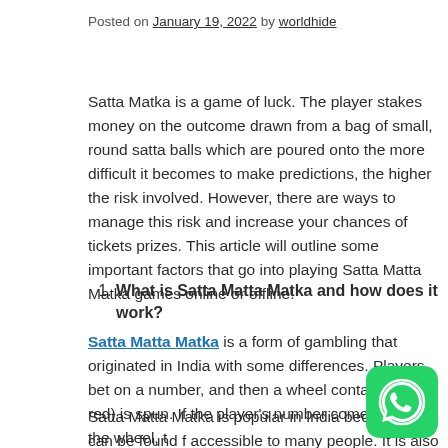Posted on January 19, 2022 by worldhide
Satta Matka is a game of luck. The player stakes money on the outcome drawn from a bag of small, round satta balls which are poured onto the table. The more difficult it becomes to make predictions, the higher the risk involved. However, there are ways to manage this risk and increase your chances of tickets prizes. This article will outline some important factors that go into playing Satta Matta Matka games online or offline!
1. What is Satta Matta Matka and how does it work?
Satta Matta Matka is a form of gambling that originated in India with some differences. Players bet on a number, and then a wheel containing (18 red) is spun. If the player's number comes up on the wheel, t
Satta Matta Matka is popular in India because it can be found f accessible to many people. It is also considered to be more fair t